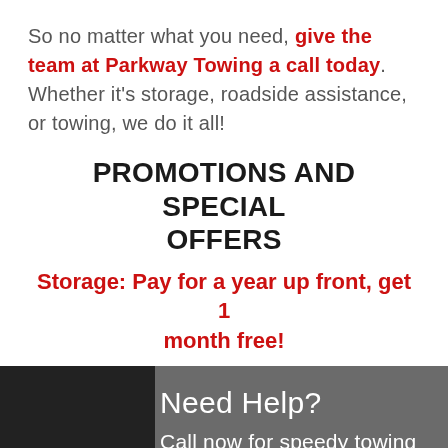So no matter what you need, give the team at Parkway Towing a call today. Whether it's storage, roadside assistance, or towing, we do it all!
PROMOTIONS AND SPECIAL OFFERS
Storage: Pay for a year up front, get 1 month free!
[Figure (photo): Dark background section with a dark car silhouette on the left and white text on the right reading 'Need Help?' and 'Call now for speedy towing and roadside']